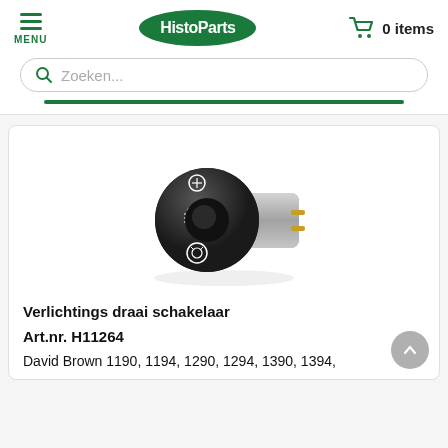HistoParts — MENU | 0 items
Zoeken...
[Figure (photo): Photo of a Verlichtings draai schakelaar (lighting rotary switch), black knob with lighting icons, metallic body with contacts, product H11264]
Verlichtings draai schakelaar
Art.nr. H11264
David Brown 1190, 1194, 1290, 1294, 1390, 1394,